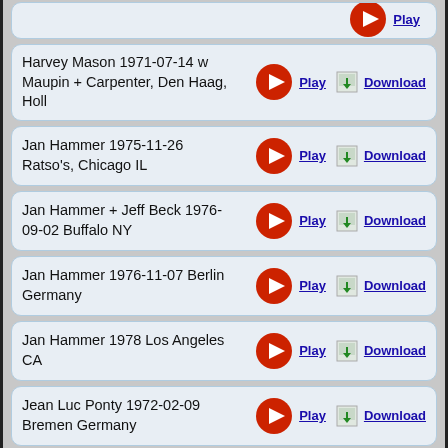(partial row at top)
Harvey Mason 1971-07-14 w Maupin + Carpenter, Den Haag, Holl
Jan Hammer 1975-11-26 Ratso's, Chicago IL
Jan Hammer + Jeff Beck 1976-09-02 Buffalo NY
Jan Hammer 1976-11-07 Berlin Germany
Jan Hammer 1978 Los Angeles CA
Jean Luc Ponty 1972-02-09 Bremen Germany
Jean Luc Ponty 1975-11 Paris France
Jean Luc Ponty 1977-01-31 Hartford CT.